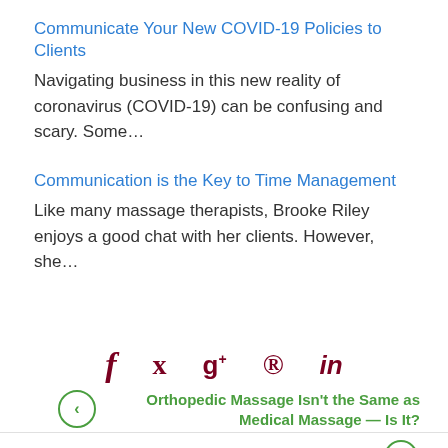Communicate Your New COVID-19 Policies to Clients
Navigating business in this new reality of coronavirus (COVID-19) can be confusing and scary. Some…
Communication is the Key to Time Management
Like many massage therapists, Brooke Riley enjoys a good chat with her clients. However, she…
[Figure (infographic): Social media share icons: Facebook (f), Twitter (bird), Google+ (g+), Pinterest (p), LinkedIn (in) in dark red/maroon color]
Orthopedic Massage Isn't the Same as Medical Massage — Is It?
Add This Easy 6-Step Lymphatic Balancing